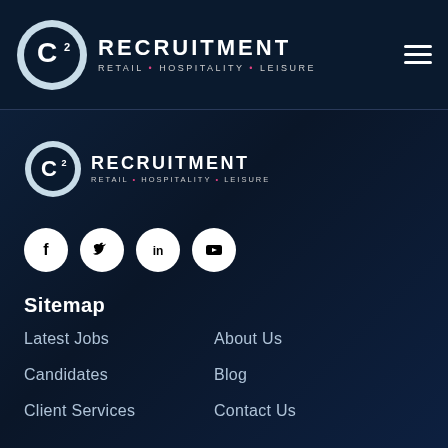[Figure (logo): C2 Recruitment logo with circle C2 icon and text RECRUITMENT / RETAIL • HOSPITALITY • LEISURE in header]
[Figure (logo): Hamburger menu icon (three horizontal lines) in top right of header]
[Figure (logo): C2 Recruitment logo (smaller) in footer area with circle C2 icon and text RECRUITMENT / RETAIL • HOSPITALITY • LEISURE]
[Figure (infographic): Four social media icons in white circles: Facebook (f), Twitter (bird), LinkedIn (in), YouTube (play button)]
Sitemap
Latest Jobs
About Us
Candidates
Blog
Client Services
Contact Us